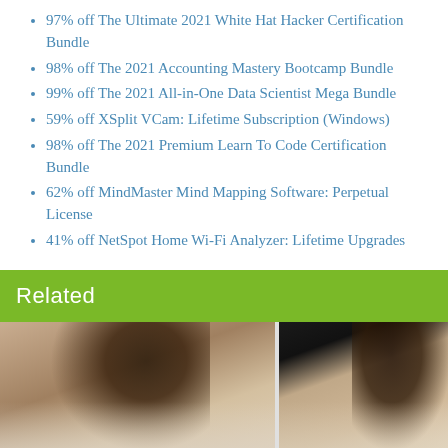97% off The Ultimate 2021 White Hat Hacker Certification Bundle
98% off The 2021 Accounting Mastery Bootcamp Bundle
99% off The 2021 All-in-One Data Scientist Mega Bundle
59% off XSplit VCam: Lifetime Subscription (Windows)
98% off The 2021 Premium Learn To Code Certification Bundle
62% off MindMaster Mind Mapping Software: Perpetual License
41% off NetSpot Home Wi-Fi Analyzer: Lifetime Upgrades
Related
[Figure (photo): Two thumbnail images side by side: left shows a woman applying makeup with a brush, right shows a woman with dark upswept hair]